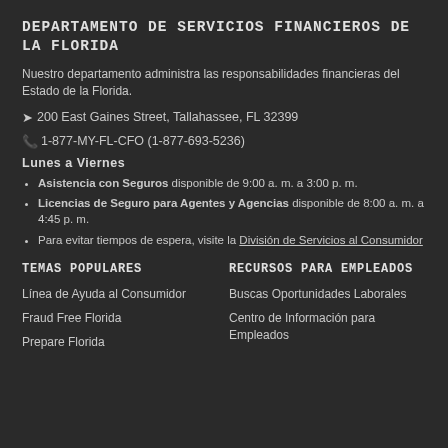DEPARTAMENTO DE SERVICIOS FINANCIEROS DE LA FLORIDA
Nuestro departamento administra las responsabilidades financieras del Estado de la Florida.
200 East Gaines Street, Tallahassee, FL 32399
1-877-MY-FL-CFO (1-877-693-5236)
Lunes a Viernes
Asistencia con Seguros disponible de 9:00 a. m. a 3:00 p. m.
Licencias de Seguro para Agentes y Agencias disponible de 8:00 a. m. a 4:45 p. m.
Para evitar tiempos de espera, visite la División de Servicios al Consumidor
TEMAS POPULARES
RECURSOS PARA EMPLEADOS
Línea de Ayuda al Consumidor
Buscas Oportunidades Laborales
Fraud Free Florida
Centro de Información para Empleados
Prepare Florida